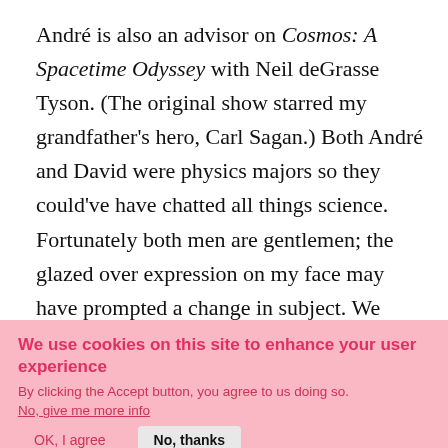André is also an advisor on Cosmos: A Spacetime Odyssey with Neil deGrasse Tyson. (The original show starred my grandfather's hero, Carl Sagan.) Both André and David were physics majors so they could've have chatted all things science. Fortunately both men are gentlemen; the glazed over expression on my face may have prompted a change in subject. We chatted about classical
We use cookies on this site to enhance your user experience
By clicking the Accept button, you agree to us doing so.
No, give me more info
OK, I agree
No, thanks